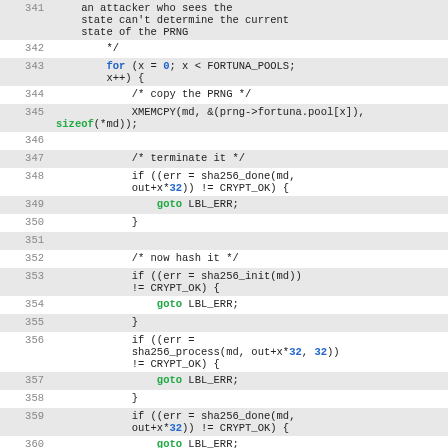[Figure (screenshot): Source code listing (C) showing lines 342-361 of a Fortuna PRNG implementation, with syntax highlighting: keywords in blue/bold, goto/sizeof in green/bold, numeric literals in blue/bold, comments in gray, alternating row backgrounds.]